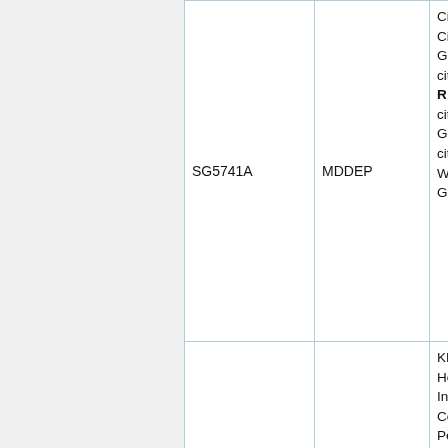|  | Model/Item Number | Application Type | Description |
| --- | --- | --- | --- |
|  | SG5741A | MDDEP | City Energy: L:
City Energy - Li
Good And Gree
cityenergylife.co
R: Good Energy Living.
cityenergy.com.
Good Energy F Future.
cityenergy.com.
White, R: Gree Blue & Green) |
|  | SG5742Y | MDDEP | KM Marketing P Mitsubishi Heav Industries SR S Conditioners: H Performance Ai Conditioning. M The World Forw Series Next Ge R22 Refrigerant |